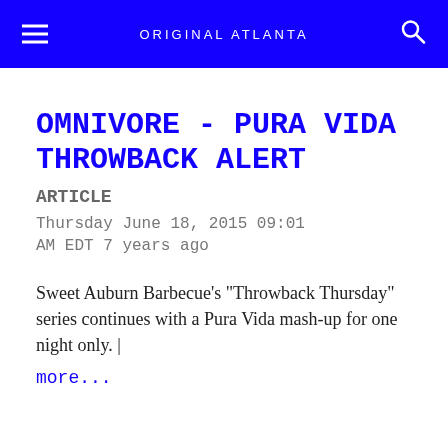ORIGINAL ATLANTA
OMNIVORE - PURA VIDA THROWBACK ALERT
ARTICLE
Thursday June 18, 2015 09:01 AM EDT 7 years ago
Sweet Auburn Barbecue's "Throwback Thursday" series continues with a Pura Vida mash-up for one night only. | more...